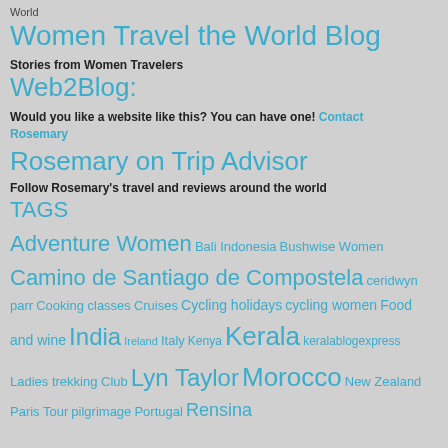World
Women Travel the World Blog
Stories from Women Travelers
Web2Blog:
Would you like a website like this? You can have one! Contact Rosemary
Rosemary on Trip Advisor
Follow Rosemary's travel and reviews around the world
TAGS
Adventure Women Bali Indonesia Bushwise Women Camino de Santiago de Compostela ceridwyn parr Cooking classes Cruises Cycling holidays cycling women Food and wine India Ireland Italy Kenya Kerala keralablogexpress Ladies trekking Club Lyn Taylor Morocco New Zealand Paris Tour pilgrimage Portugal Rensina